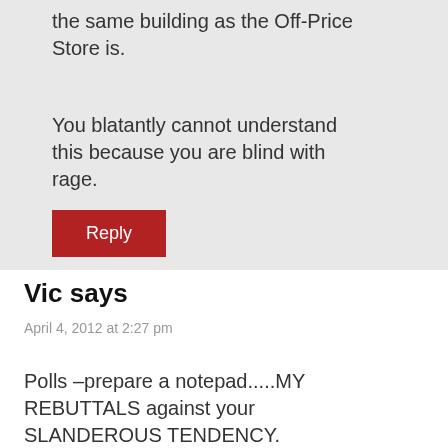that probably. He does Antique in the same building as the Off-Price Store is.
You blatantly cannot understand this because you are blind with rage.
Reply
Vic says
April 4, 2012 at 2:27 pm
Polls –prepare a notepad.....MY REBUTTALS against your SLANDEROUS TENDENCY.
" First part of the sentence you call me